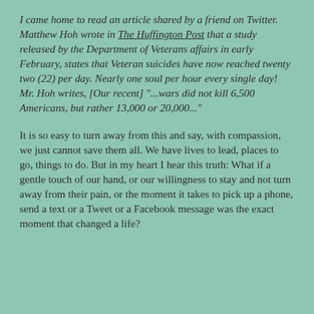I came home to read an article shared by a friend on Twitter. Matthew Hoh wrote in The Huffington Post that a study released by the Department of Veterans affairs in early February, states that Veteran suicides have now reached twenty two (22) per day. Nearly one soul per hour every single day! Mr. Hoh writes, [Our recent] "...wars did not kill 6,500 Americans, but rather 13,000 or 20,000..."
It is so easy to turn away from this and say, with compassion, we just cannot save them all. We have lives to lead, places to go, things to do. But in my heart I hear this truth: What if a gentle touch of our hand, or our willingness to stay and not turn away from their pain, or the moment it takes to pick up a phone, send a text or a Tweet or a Facebook message was the exact moment that changed a life?